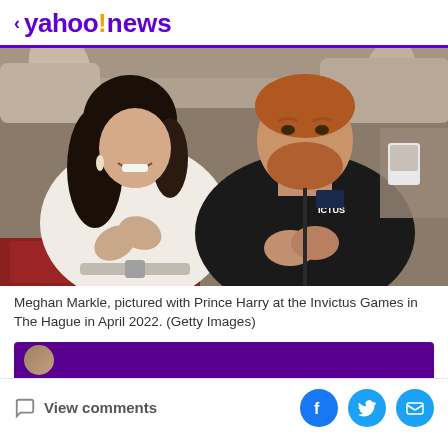< yahoo!news
[Figure (photo): Meghan Markle and Prince Harry seated at an event, both clapping. Meghan is wearing a white outfit and Prince Harry is wearing a black Invictus Games jacket. Other attendees visible in the background.]
Meghan Markle, pictured with Prince Harry at the Invictus Games in The Hague in April 2022. (Getty Images)
[Figure (photo): Partial purple banner with a small circular avatar at the bottom of the article.]
View comments